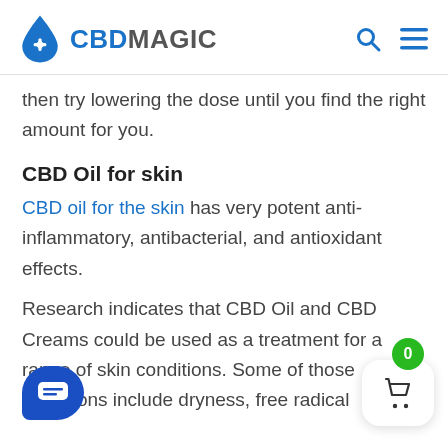CBD MAGIC
then try lowering the dose until you find the right amount for you.
CBD Oil for skin
CBD oil for the skin has very potent anti-inflammatory, antibacterial, and antioxidant effects.
Research indicates that CBD Oil and CBD Creams could be used as a treatment for a range of skin conditions. Some of those conditions include dryness, free radical damage, and more.